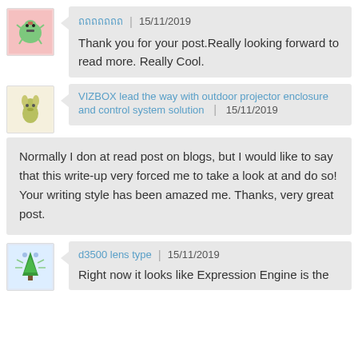[Figure (illustration): Avatar icon of a green alien/creature on pink background]
ถถถถถถถ | 15/11/2019
Thank you for your post.Really looking forward to read more. Really Cool.
[Figure (illustration): Avatar icon of a green kangaroo/rabbit on beige background]
VIZBOX lead the way with outdoor projector enclosure and control system solution | 15/11/2019
Normally I don at read post on blogs, but I would like to say that this write-up very forced me to take a look at and do so! Your writing style has been amazed me. Thanks, very great post.
[Figure (illustration): Avatar icon of a Christmas tree with wings on light blue background]
d3500 lens type | 15/11/2019
Right now it looks like Expression Engine is the